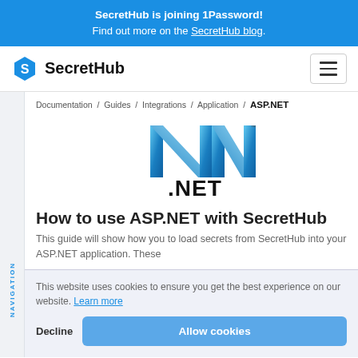SecretHub is joining 1Password! Find out more on the SecretHub blog.
[Figure (logo): SecretHub logo with hexagonal S icon and wordmark]
Documentation / Guides / Integrations / Application / ASP.NET
[Figure (logo): Microsoft .NET logo — blue metallic ribbon N with .NET text below]
How to use ASP.NET with SecretHub
This guide will show how you to load secrets from SecretHub into your ASP.NET application. These
This website uses cookies to ensure you get the best experience on our website. Learn more
Decline
Allow cookies